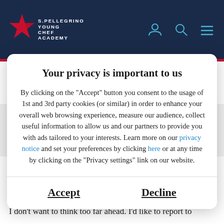[Figure (logo): S.Pellegrino Young Chef Academy logo with red star and white text on dark navy background, plus navigation icons]
you eat it, who cooked it?
The best dish is poularde de bresse etauffée sans...
Your privacy is important to us
By clicking on the "Accept" button you consent to the usage of 1st and 3rd party cookies (or similar) in order to enhance your overall web browsing experience, measure our audience, collect useful information to allow us and our partners to provide you with ads tailored to your interests. Learn more on our privacy notice and set your preferences by clicking here or at any time by clicking on the "Privacy settings" link on our website.
Accept
Decline
flavour with minimum loss, technically and also philosophically, from a Japanese culinary perspective.
What will you do if you win this competition?
I don't want to think too far ahead. I'd like to report to